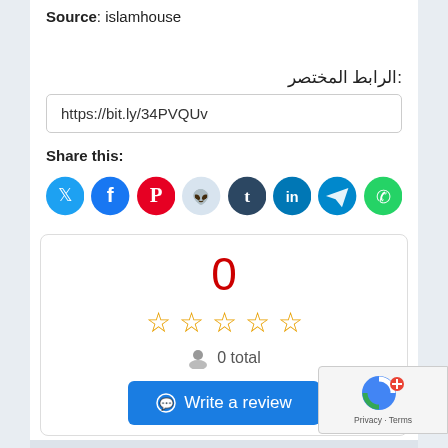Source: islamhouse
الرابط المختصر:
https://bit.ly/34PVQUv
Share this:
[Figure (infographic): Social media share buttons: Twitter (blue), Facebook (dark blue), Pinterest (red), Reddit (light blue), Tumblr (dark navy), LinkedIn (teal), Telegram (teal), WhatsApp (green)]
[Figure (infographic): Rating widget showing 0 rating, 5 empty stars, 0 total reviews, and a Write a review button]
5